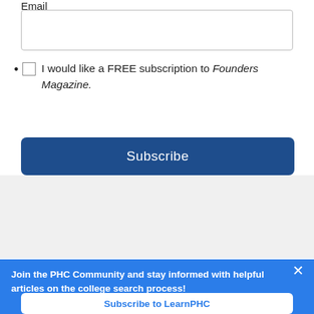Email
I would like a FREE subscription to Founders Magazine.
Subscribe
[Figure (screenshot): Search bar with magnifying glass icon on a light gray background]
Join the PHC Community and stay informed with helpful articles on the college search process!
Subscribe to LearnPHC